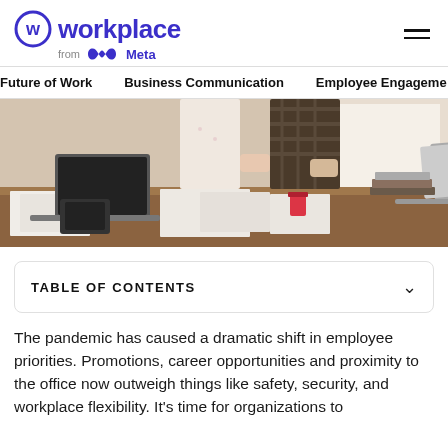[Figure (logo): Workplace from Meta logo with circular W icon in blue/purple and text 'workplace from Meta']
Future of Work   Business Communication   Employee Engagement
[Figure (photo): Two people standing at a desk covered with papers and laptops in an office setting]
TABLE OF CONTENTS
The pandemic has caused a dramatic shift in employee priorities. Promotions, career opportunities and proximity to the office now outweigh things like safety, security, and workplace flexibility. It's time for organizations to change their approach to employee engagement.